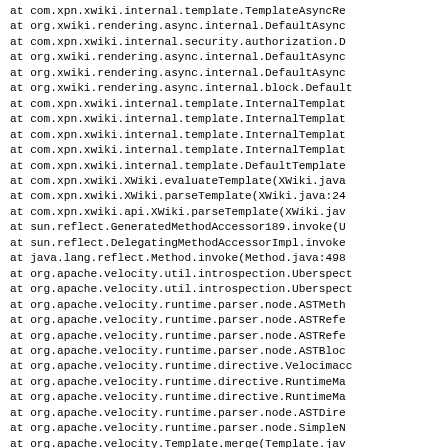at com.xpn.xwiki.internal.template.TemplateAsyncRe
    at org.xwiki.rendering.async.internal.DefaultAsync
    at com.xpn.xwiki.internal.security.authorization.D
    at org.xwiki.rendering.async.internal.DefaultAsync
    at org.xwiki.rendering.async.internal.DefaultAsync
    at org.xwiki.rendering.async.internal.block.Default
    at com.xpn.xwiki.internal.template.InternalTemplat
    at com.xpn.xwiki.internal.template.InternalTemplat
    at com.xpn.xwiki.internal.template.InternalTemplat
    at com.xpn.xwiki.internal.template.InternalTemplat
    at com.xpn.xwiki.internal.template.DefaultTemplate
    at com.xpn.xwiki.XWiki.evaluateTemplate(XWiki.java
    at com.xpn.xwiki.XWiki.parseTemplate(XWiki.java:24
    at com.xpn.xwiki.api.XWiki.parseTemplate(XWiki.jav
    at sun.reflect.GeneratedMethodAccessor189.invoke(U
    at sun.reflect.DelegatingMethodAccessorImpl.invoke
    at java.lang.reflect.Method.invoke(Method.java:498
    at org.apache.velocity.util.introspection.Uberspect
    at org.apache.velocity.util.introspection.Uberspect
    at org.apache.velocity.runtime.parser.node.ASTMeth
    at org.apache.velocity.runtime.parser.node.ASTRefe
    at org.apache.velocity.runtime.parser.node.ASTRefe
    at org.apache.velocity.runtime.parser.node.ASTBloc
    at org.apache.velocity.runtime.directive.Velocimacc
    at org.apache.velocity.runtime.directive.RuntimeMa
    at org.apache.velocity.runtime.directive.RuntimeMa
    at org.apache.velocity.runtime.parser.node.ASTDire
    at org.apache.velocity.runtime.parser.node.SimpleN
    at org.apache.velocity.Template.merge(Template.jav
    at org.apache.velocity.Template.merge(Template.jav